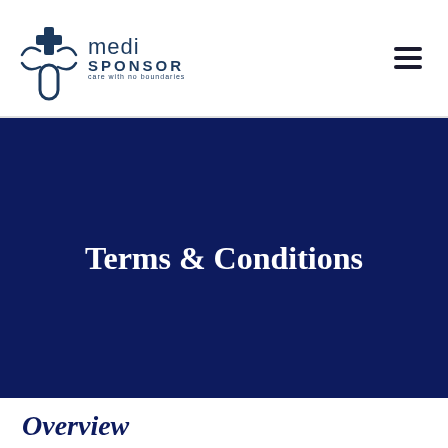medi SPONSOR care with no boundaries
Terms & Conditions
Overview